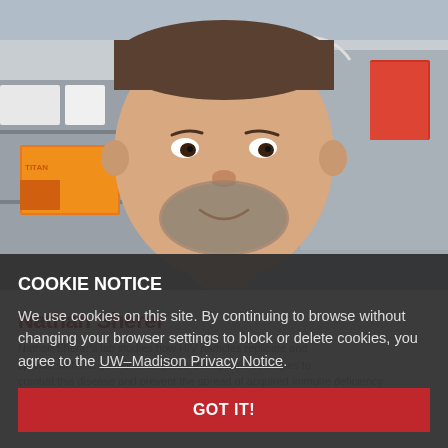[Figure (photo): A man with a beard smiling in a laboratory setting, surrounded by lab equipment, bottles, and orange boxes on shelves. He is wearing a blue plaid shirt.]
Nathan Sherer
Nathan Sherer's lab studies how HIV particles replicate and spread, with the goal of finding new therapeutic strategies to combat the disease and prevent the spread of acquired immune deficiency syndrome (AIDS).
COOKIE NOTICE
We use cookies on this site. By continuing to browse without changing your browser settings to block or delete cookies, you agree to the UW–Madison Privacy Notice.
GOT IT!